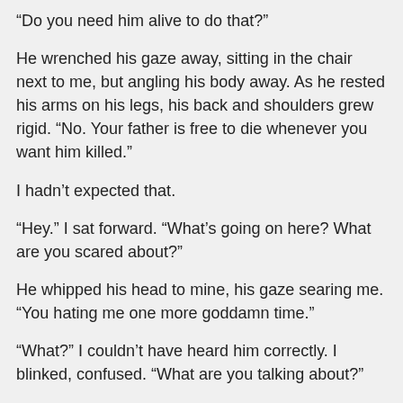“Do you need him alive to do that?”
He wrenched his gaze away, sitting in the chair next to me, but angling his body away. As he rested his arms on his legs, his back and shoulders grew rigid. “No. Your father is free to die whenever you want him killed.”
I hadn’t expected that.
“Hey.” I sat forward. “What’s going on here? What are you scared about?”
He whipped his head to mine, his gaze searing me. “You hating me one more goddamn time.”
“What?” I couldn’t have heard him correctly. I blinked, confused. “What are you talking about?”
“Your father has to die.” He was cold now. “His body will be found. He’ll be declared dead. His company will call an emergency board meeting. In the interim, you’ll be declared